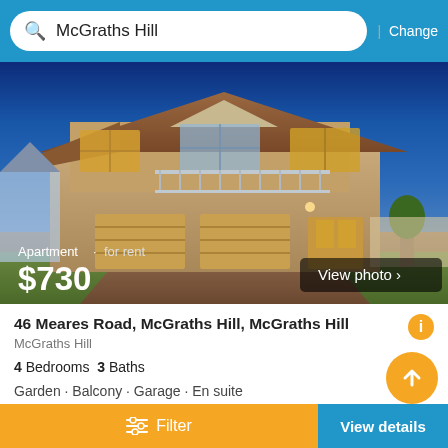McGraths Hill | Change
[Figure (photo): Two-storey brick house with double garage, balcony, and blue evening sky. Text overlay: Apartment · for rent $730. View photo > button.]
46 Meares Road, McGraths Hills, McGraths Hill
McGraths Hill
4 Bedrooms  3 Baths
Garden · Balcony · Garage · En suite
First seen 2 days ago on Domain
Filter  View details